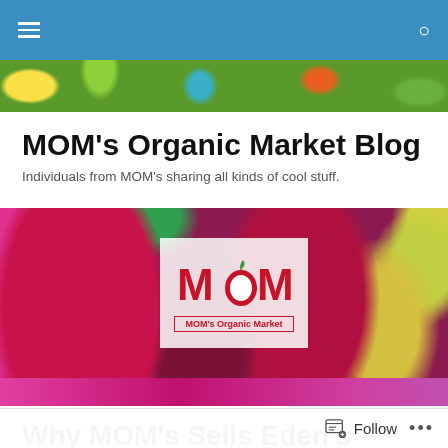MOM's Organic Market Blog — navigation bar
[Figure (photo): Thin colorful vegetable strip banner at top below navigation bar]
MOM's Organic Market Blog
Individuals from MOM's sharing all kinds of cool stuff.
[Figure (photo): Full-width photo of colorful vegetables (beets, greens, yellow peppers) with MOM's Organic Market logo overlay in center]
Why MOM's Sells Eden's
Many customers have contacted MOM's about Eden's Organics, requesting that we pull the products because of
Follow   •••